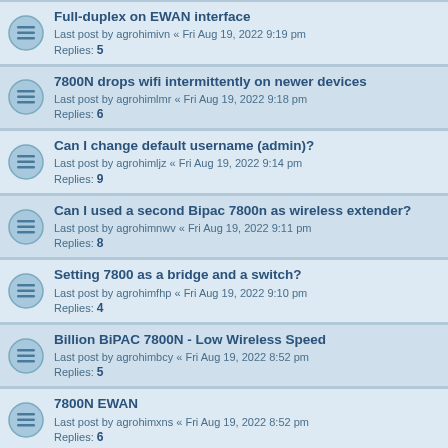Full-duplex on EWAN interface
Last post by agrohimivn « Fri Aug 19, 2022 9:19 pm
Replies: 5
7800N drops wifi intermittently on newer devices
Last post by agrohimlmr « Fri Aug 19, 2022 9:18 pm
Replies: 6
Can I change default username (admin)?
Last post by agrohimljz « Fri Aug 19, 2022 9:14 pm
Replies: 9
Can I used a second Bipac 7800n as wireless extender?
Last post by agrohimnwv « Fri Aug 19, 2022 9:11 pm
Replies: 8
Setting 7800 as a bridge and a switch?
Last post by agrohimfhp « Fri Aug 19, 2022 9:10 pm
Replies: 4
Billion BiPAC 7800N - Low Wireless Speed
Last post by agrohimbcy « Fri Aug 19, 2022 8:52 pm
Replies: 5
7800N EWAN
Last post by agrohimxns « Fri Aug 19, 2022 8:52 pm
Replies: 6
7800N Cannot delete static DNS entry
Last post by agrohimidv « Fri Aug 19, 2022 8:45 pm
Replies: 2
where to I find PPTP?
Last post by agrohimlwa « Fri Aug 19, 2022 8:34 pm
Replies: 6
7800 + Huawei 5G CPE Pro